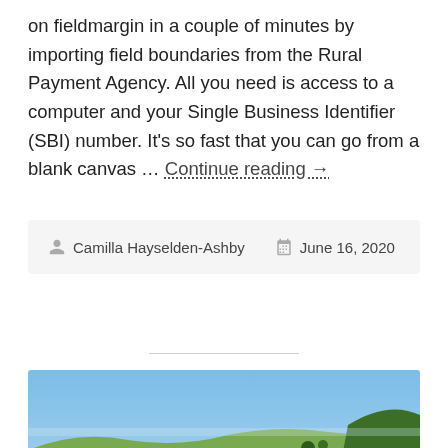on fieldmargin in a couple of minutes by importing field boundaries from the Rural Payment Agency. All you need is access to a computer and your Single Business Identifier (SBI) number. It's so fast that you can go from a blank canvas … Continue reading →
Camilla Hayselden-Ashby   June 16, 2020
[Figure (photo): Aerial landscape photo showing rolling green hills with agricultural fields, red soil, trees, and a blue sky horizon in an African or tropical rural setting.]